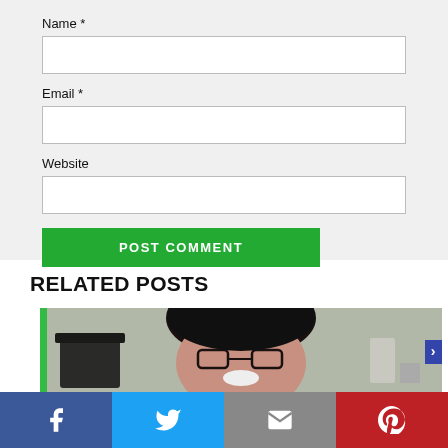Name *
Email *
Website
POST COMMENT
RELATED POSTS
[Figure (photo): A smiling person with dark hair and glasses in a kitchen setting, with a green bar on the left and a blue arrow on the right.]